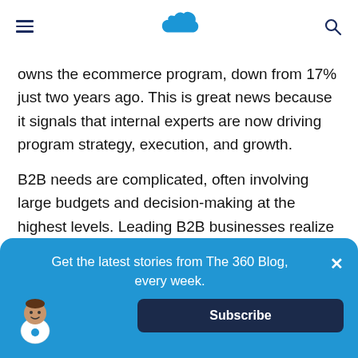[Salesforce logo navigation bar with hamburger menu and search icon]
owns the ecommerce program, down from 17% just two years ago. This is great news because it signals that internal experts are now driving program strategy, execution, and growth.
B2B needs are complicated, often involving large budgets and decision-making at the highest levels. Leading B2B businesses realize their organization's structure must reflect the role of digital.
Get the latest stories from The 360 Blog, every week.
Subscribe